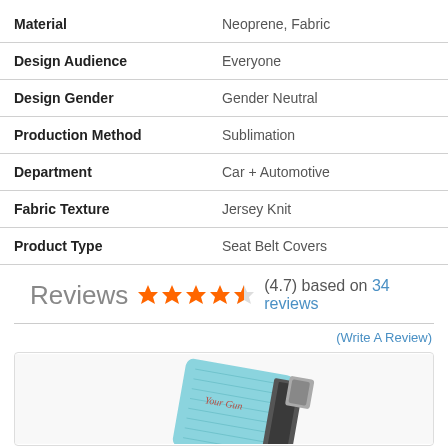| Attribute | Value |
| --- | --- |
| Material | Neoprene, Fabric |
| Design Audience | Everyone |
| Design Gender | Gender Neutral |
| Production Method | Sublimation |
| Department | Car + Automotive |
| Fabric Texture | Jersey Knit |
| Product Type | Seat Belt Covers |
Reviews ★★★★½ (4.7) based on 34 reviews
(Write A Review)
[Figure (photo): Product photo of a seat belt cover with teal/light blue fabric and black belt hardware, partially visible.]